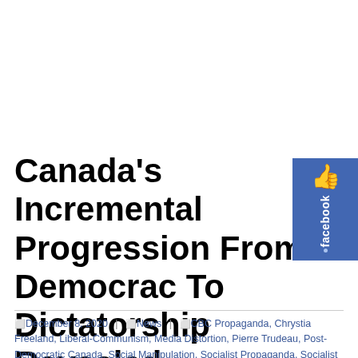Canada's Incremental Progression From Democracy To Dictatorship Revealed
[Figure (logo): Facebook 'Like' badge in blue with thumbs up icon and 'facebook' text]
December 8, 2020 | News | CBC Propaganda, Chrystia Freeland, Liberal-Communism, Media Distortion, Pierre Trudeau, Post-Democratic Canada, Social Manipulation, Socialist Propaganda, Socialist Societies | Brad |